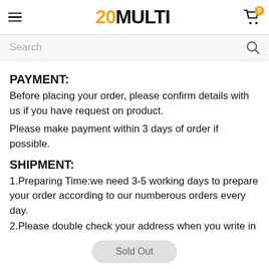20MULTI
Search
PAYMENT:
Before placing your order, please confirm details with us if you have request on product.
Please make payment within 3 days of order if possible.
SHIPMENT:
1.Preparing Time:we need 3-5 working days to prepare your order according to our numberous orders every day.
2.Please double check your address when you write in aliexpress, if you want change before we ship them out, please notice us the
Sold Out